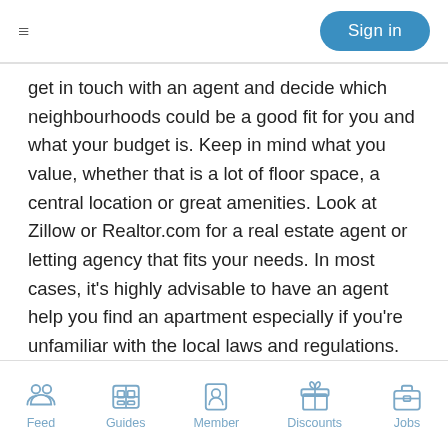≡   Sign in
get in touch with an agent and decide which neighbourhoods could be a good fit for you and what your budget is. Keep in mind what you value, whether that is a lot of floor space, a central location or great amenities. Look at Zillow or Realtor.com for a real estate agent or letting agency that fits your needs. In most cases, it's highly advisable to have an agent help you find an apartment especially if you're unfamiliar with the local laws and regulations. This way you can avoid expensive fines and possible miscommunications with landlords which will cost you in the end.
A one-bedroom apartment in the heart of Miami will easily cost 1,500$ per month or even more for rentals in Miami
Feed   Guides   Member   Discounts   Jobs